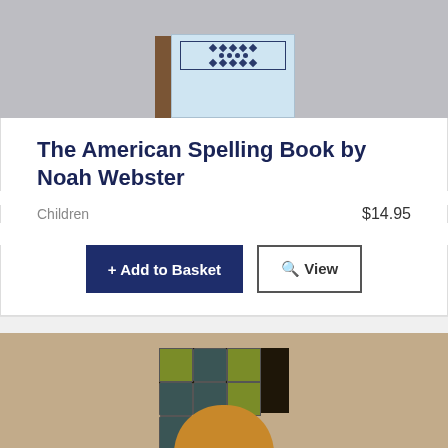[Figure (photo): Top portion of a book product listing showing a light blue book cover with decorative pattern on a gray background]
The American Spelling Book by Noah Webster
Children
$14.95
+ Add to Basket
View
[Figure (photo): Bottom portion showing another book with dark cover and decorative tiles and arch shape on a tan/beige background]